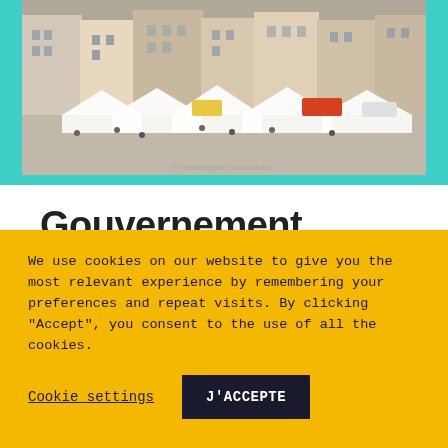[Figure (photo): Aerial/overhead view of a European city square with market stalls, white umbrellas/tents, vehicles, and surrounding historic buildings. Teal/cyan border framing below the image.]
Gouvernement ouvert et communautés intelligentes
We use cookies on our website to give you the most relevant experience by remembering your preferences and repeat visits. By clicking "Accept", you consent to the use of all the cookies.
Cookie settings    J'ACCEPTE